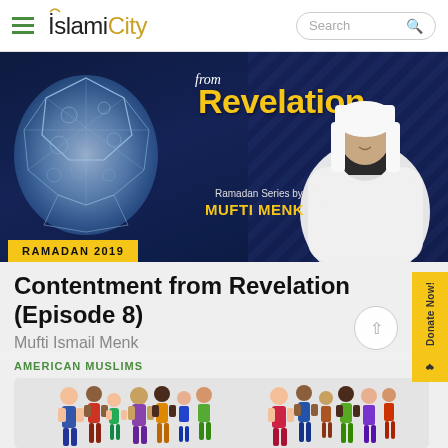IslamiCity
[Figure (photo): Ramadan 2019 banner featuring a geometric dodecahedron shape on the left, text 'from Revelation' and 'Ramadan Series by MUFTI MENK' overlaid on a dark blue background, with an image of Mufti Menk on the right side. Yellow label says 'RAMADAN 2019'.]
Contentment from Revelation (Episode 8)
Mufti Ismail Menk
AMERICAN MUSLIMS
[Figure (illustration): Colorful illustrated crowd of diverse cartoon people representing American Muslims community]